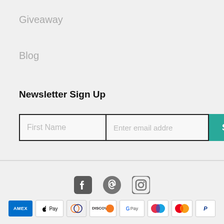Giveaway
Blog
Newsletter Sign Up
[Figure (screenshot): Newsletter sign-up form with First Name input, Enter email address input, and Sign Up button in teal]
[Figure (infographic): Social media icons: Facebook, Pinterest, Instagram]
[Figure (infographic): Payment method icons: Amex, Apple Pay, Diners Club, Discover, Google Pay, Maestro, Mastercard, PayPal]